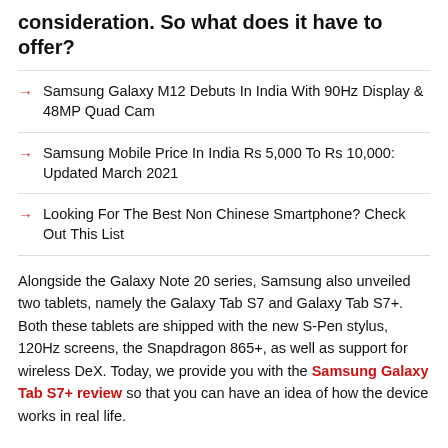consideration. So what does it have to offer?
Samsung Galaxy M12 Debuts In India With 90Hz Display & 48MP Quad Cam
Samsung Mobile Price In India Rs 5,000 To Rs 10,000: Updated March 2021
Looking For The Best Non Chinese Smartphone? Check Out This List
Alongside the Galaxy Note 20 series, Samsung also unveiled two tablets, namely the Galaxy Tab S7 and Galaxy Tab S7+. Both these tablets are shipped with the new S-Pen stylus, 120Hz screens, the Snapdragon 865+, as well as support for wireless DeX. Today, we provide you with the Samsung Galaxy Tab S7+ review so that you can have an idea of how the device works in real life.